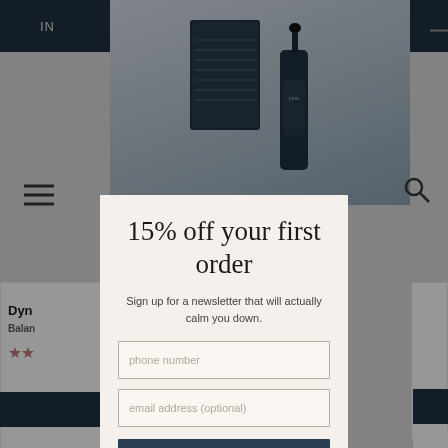[Figure (screenshot): Background of a website showing a dark navy top navigation bar, a product image area with skincare dropper bottle and box (Juna brand), hamburger menu icon on the left, search icon on the right, and partial product listing below with stars rating.]
15% off your first order
Sign up for a newsletter that will actually calm you down.
phone number
email address (optional)
CALM DOWN
By joining via e-mail or text messages, you agree to receive recurring marketing messages (e.g. cart abandon) from Juna at the mobile number used to send the join text message. Msg & data